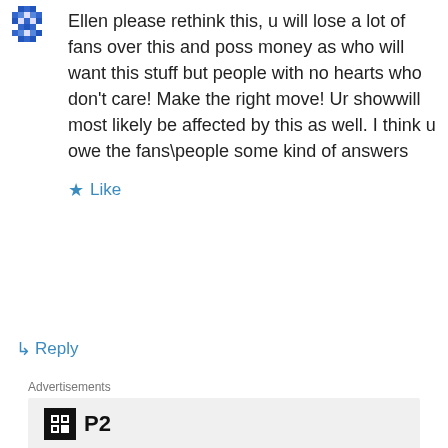[Figure (illustration): Blue pixelated avatar/profile icon in top left corner]
Ellen please rethink this, u will lose a lot of fans over this and poss money as who will want this stuff but people with no hearts who don't care! Make the right move! Ur showwill most likely be affected by this as well. I think u owe the fans\people some kind of answers
★ Like
↳ Reply
Advertisements
[Figure (logo): P2 logo — black square with white grid icon, followed by bold P2 text]
Getting your team on the same page is easy. And free.